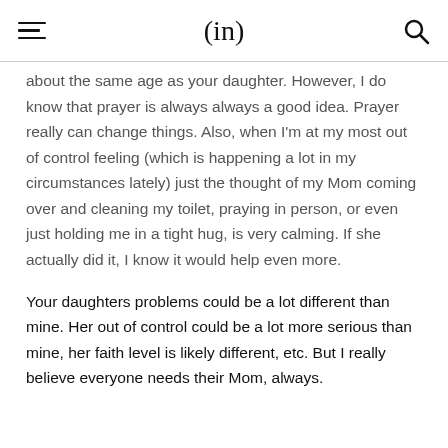(in)
about the same age as your daughter. However, I do know that prayer is always always a good idea. Prayer really can change things. Also, when I'm at my most out of control feeling (which is happening a lot in my circumstances lately) just the thought of my Mom coming over and cleaning my toilet, praying in person, or even just holding me in a tight hug, is very calming. If she actually did it, I know it would help even more.
Your daughters problems could be a lot different than mine. Her out of control could be a lot more serious than mine, her faith level is likely different, etc. But I really believe everyone needs their Mom, always.